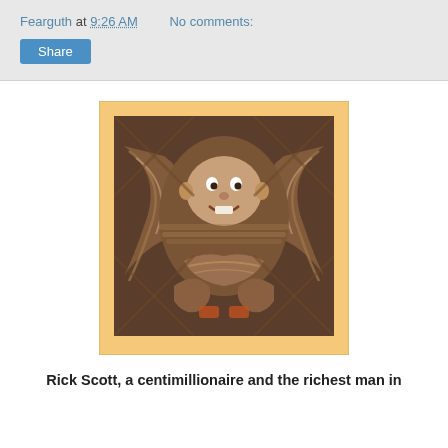Fearguth at 9:26 AM    No comments:
Share
[Figure (illustration): A decorative carved wood-style layered art illustration of a caricature figure with wings, rendered in warm brown tones with a woven/stacked paper art style, on an orange-yellow background.]
Rick Scott, a centimillionaire and the richest man in